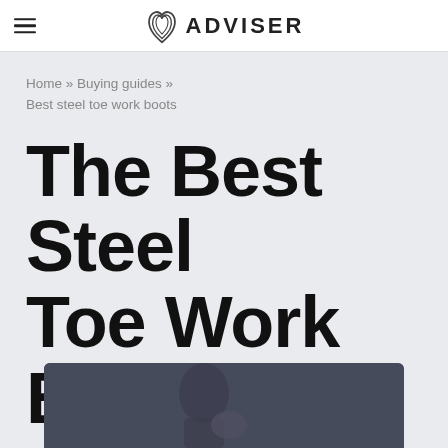ADVISER
Home » Buying guides »
Best steel toe work boots
The Best Steel Toe Work Boots
By Shoes Adviser Staff | Last updated: Sunday, April 10, 2022
[Figure (photo): Article header image showing a person, with an SA (Shoes Adviser) purple circular badge in the bottom right corner]